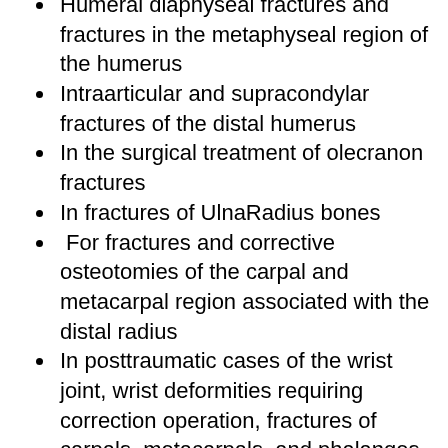Humeral diaphyseal fractures and fractures in the metaphyseal region of the humerus
Intraarticular and supracondylar fractures of the distal humerus
In the surgical treatment of olecranon fractures
In fractures of UlnaRadius bones
For fractures and corrective osteotomies of the carpal and metacarpal region associated with the distal radius
In posttraumatic cases of the wrist joint, wrist deformities requiring correction operation, fractures of carpals, metacarpals, and phalanges
Simple and reverse intertrochanteric fractures
In the surgical treatment of...